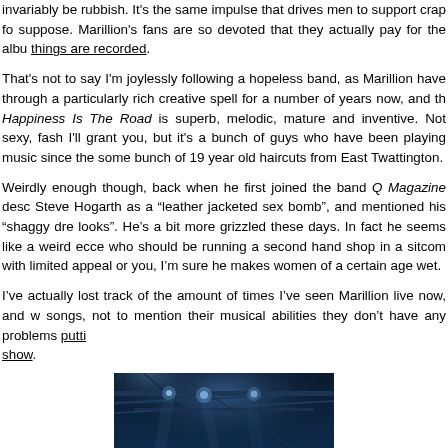invariably be rubbish. It's the same impulse that drives men to support crap fo... suppose. Marillion's fans are so devoted that they actually pay for the albu... things are recorded.
That's not to say I'm joylessly following a hopeless band, as Marillion have... through a particularly rich creative spell for a number of years now, and the... Happiness Is The Road is superb, melodic, mature and inventive. Not sexy, fash... I'll grant you, but it's a bunch of guys who have been playing music since the... some bunch of 19 year old haircuts from East Twattington.
Weirdly enough though, back when he first joined the band Q Magazine desc... Steve Hogarth as a "leather jacketed sex bomb", and mentioned his "shaggy dre... looks". He's a bit more grizzled these days. In fact he seems like a weird ecce... who should be running a second hand shop in a sitcom with limited appeal or... you, I'm sure he makes women of a certain age wet.
I've actually lost track of the amount of times I've seen Marillion live now, and w... songs, not to mention their musical abilities they don't have any problems putti... show.
[Figure (photo): Dark blue-toned concert/stage photo showing lighting rigs and beams of light in a venue, with a bluish atmospheric haze.]